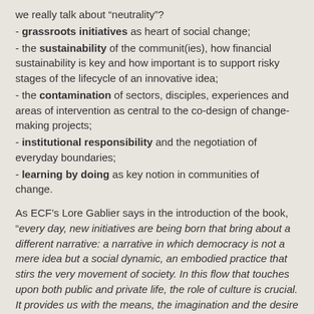we really talk about “neutrality”?
- grassroots initiatives as heart of social change;
- the sustainability of the communit(ies), how financial sustainability is key and how important is to support risky stages of the lifecycle of an innovative idea;
- the contamination of sectors, disciples, experiences and areas of intervention as central to the co-design of change-making projects;
- institutional responsibility and the negotiation of everyday boundaries;
- learning by doing as key notion in communities of change.
As ECF’s Lore Gablier says in the introduction of the book, „very day, new initiatives are being born that bring about a different narrative: a narrative in which democracy is not a mere idea but a social dynamic, an embodied practice that stirs the very movement of society. In this flow that touches upon both public and private life, the role of culture is crucial. It provides us with the means, the imagination and the desire to affect the path.”.
As we keep intertwining all the above questions with our work in Platoniq and Goteo, we salute the collective